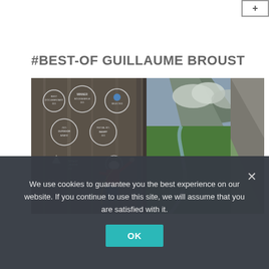[Figure (other): Small UI button with plus sign in top-right corner]
#BEST-OF GUILLAUME BROUST
[Figure (photo): A rock climber in a red jacket and white helmet scaling a steep cliff face. On the left half is a film poster with award laurels overlay. On the right half is an aerial photograph of a lush green Alpine valley with mountains in the background.]
We use cookies to guarantee you the best experience on our website. If you continue to use this site, we will assume that you are satisfied with it.